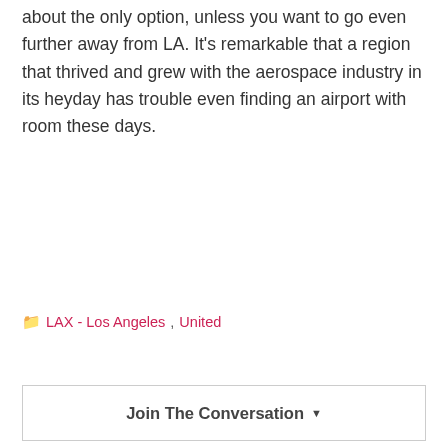about the only option, unless you want to go even further away from LA. It's remarkable that a region that thrived and grew with the aerospace industry in its heyday has trouble even finding an airport with room these days.
LAX - Los Angeles, United
Join The Conversation
You may also like
[Figure (photo): Gray placeholder image at the bottom of the page]